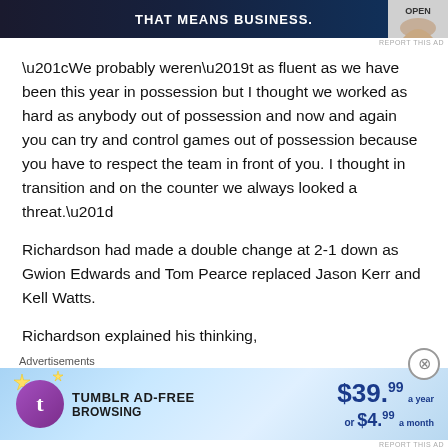[Figure (other): Top advertisement banner: dark background with text 'THAT MEANS BUSINESS.' in white bold letters and a hand image on the right with 'OPEN' text]
“We probably weren’t as fluent as we have been this year in possession but I thought we worked as hard as anybody out of possession and now and again you can try and control games out of possession because you have to respect the team in front of you. I thought in transition and on the counter we always looked a threat.”
Richardson had made a double change at 2-1 down as Gwion Edwards and Tom Pearce replaced Jason Kerr and Kell Watts.
Richardson explained his thinking,
[Figure (other): Bottom advertisement: Tumblr AD-FREE BROWSING banner showing $39.99 a year or $4.99 a month on a light blue gradient background with Tumblr logo]